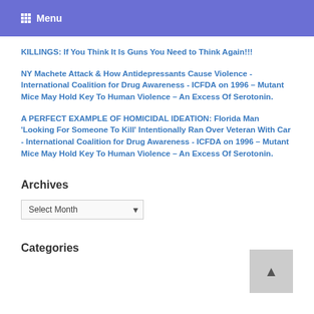Menu
KILLINGS: If You Think It Is Guns You Need to Think Again!!!
NY Machete Attack & How Antidepressants Cause Violence - International Coalition for Drug Awareness - ICFDA on 1996 – Mutant Mice May Hold Key To Human Violence – An Excess Of Serotonin.
A PERFECT EXAMPLE OF HOMICIDAL IDEATION: Florida Man 'Looking For Someone To Kill' Intentionally Ran Over Veteran With Car - International Coalition for Drug Awareness - ICFDA on 1996 – Mutant Mice May Hold Key To Human Violence – An Excess Of Serotonin.
Archives
Select Month
Categories